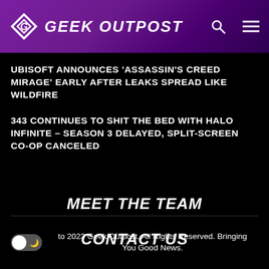GEEK OUTPOST
UBISOFT ANNOUNCES 'ASSASSIN'S CREED MIRAGE' EARLY AFTER LEAKS SPREAD LIKE WILDFIRE
343 CONTINUES TO SHIT THE BED WITH HALO INFINITE – SEASON 3 DELAYED, SPLIT-SCREEN CO-OP CANCELED
MEET THE TEAM
CONTACT US
to 2023 Geek Outpost. All Rights Reserved. Bringing You Good News.